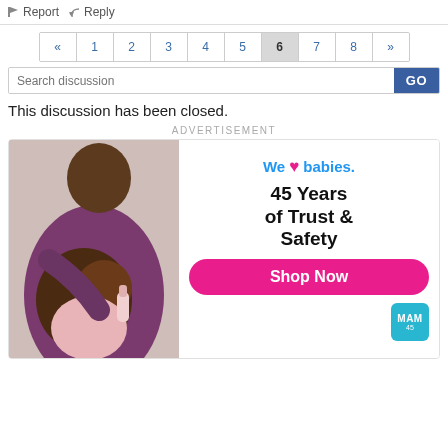Report   Reply
« 1 2 3 4 5 6 7 8 »
Search discussion GO
This discussion has been closed.
ADVERTISEMENT
[Figure (photo): Advertisement banner: adult holding baby with bottle. Text reads 'We ❤ babies. 45 Years of Trust & Safety. Shop Now.' MAM logo in corner.]